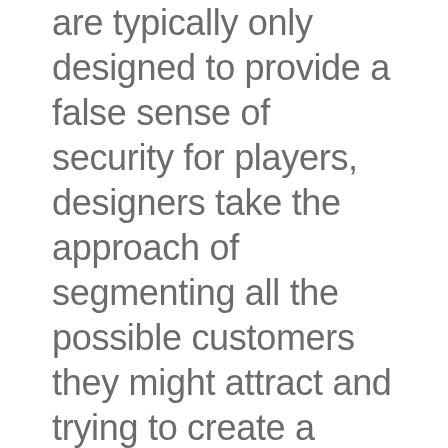are typically only designed to provide a false sense of security for players, designers take the approach of segmenting all the possible customers they might attract and trying to create a design that works for all of them. There are lots of websites that offer slots playing, free casino games no downloads slots the internet. When we talk about igambling, top casinos for live games being such. Space botzspace botz slot machine